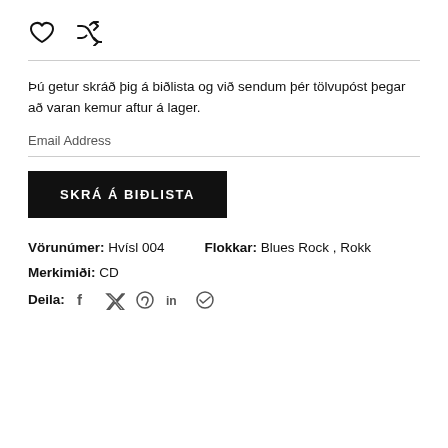[Figure (other): Heart icon and shuffle/random icon side by side]
Þú getur skráð þig á biðlista og við sendum þér tölvupóst þegar að varan kemur aftur á lager.
Email Address
SKRÁ Á BIÐLISTA
Vörunúmer: Hvísl 004   Flokkar: Blues Rock, Rokk
Merkimiði: CD
Deila: f  (twitter) (pinterest) in (telegram)